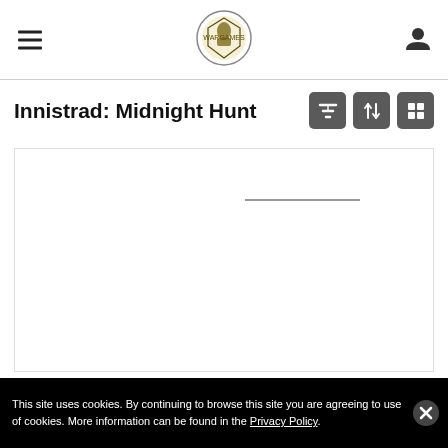Wargames logo with hamburger menu and user icon
Innistrad: Midnight Hunt
[Figure (screenshot): White content panel with a horizontal divider line in the upper-right area, representing a loading or empty product listing page]
This site uses cookies. By continuing to browse this site you are agreeing to use of cookies. More information can be found in the Privacy Policy.